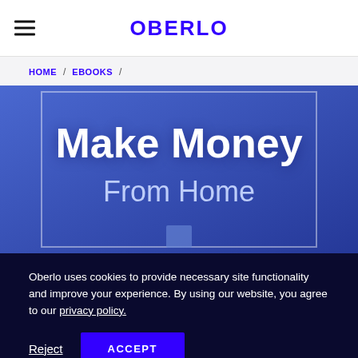OBERLO
HOME / EBOOKS /
[Figure (illustration): Book cover image with blue gradient background and white text reading 'Make Money From Home' with a glowing effect at the bottom]
Oberlo uses cookies to provide necessary site functionality and improve your experience. By using our website, you agree to our privacy policy.
Reject   ACCEPT